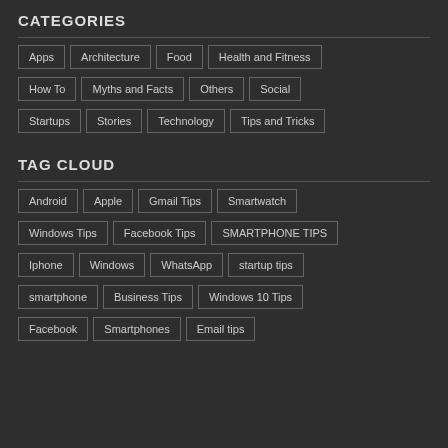CATEGORIES
Apps
Architecture
Food
Health and Fitness
How To
Myths and Facts
Others
Social
Startups
Stories
Technology
Tips and Tricks
TAG CLOUD
Android
Apple
Gmail Tips
Smartwatch
Windows Tips
Facebook Tips
SMARTPHONE TIPS
Iphone
Windows
WhatsApp
startup tips
smartphone
Business Tips
Windows 10 Tips
Facebook
Smartphones
Email tips